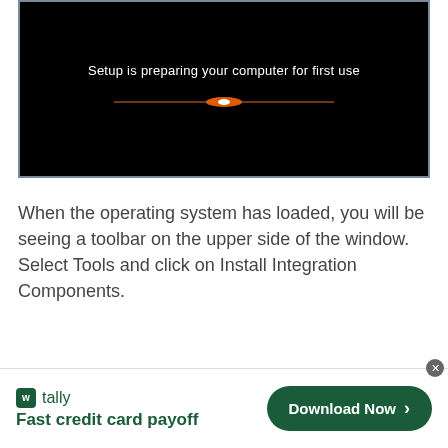[Figure (screenshot): Windows setup screen with black background showing 'Setup is preparing your computer for first use' text and a horizontal glowing light effect in orange/white]
When the operating system has loaded, you will be seeing a toolbar on the upper side of the window. Select Tools and click on Install Integration Components.
[Figure (infographic): Advertisement banner for Tally app — 'Fast credit card payoff' with a Download Now button]